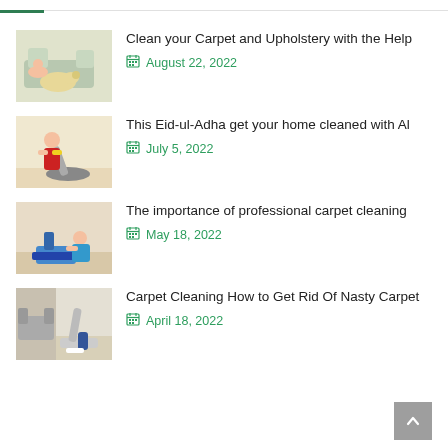Clean your Carpet and Upholstery with the Help
August 22, 2022
This Eid-ul-Adha get your home cleaned with Al
July 5, 2022
The importance of professional carpet cleaning
May 18, 2022
Carpet Cleaning How to Get Rid Of Nasty Carpet
April 18, 2022